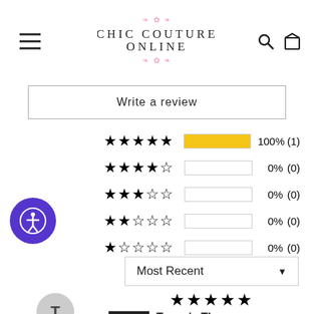Chic Couture Online
Write a review
[Figure (infographic): Star rating distribution: 5-star 100% (1), 4-star 0% (0), 3-star 0% (0), 2-star 0% (0), 1-star 0% (0)]
Most Recent
[Figure (infographic): 5-star review by Tammie Thompson, Verified reviewer, avatar T]
Verified  Tammie Thompson